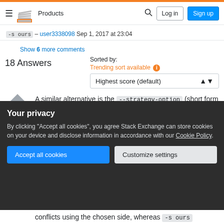Products | Log in | Sign up
-s ours – user3338098 Sep 1, 2017 at 23:04
Show 6 more comments
18 Answers
Sorted by: Trending sort available
Highest score (default)
1209
A similar alternative is the --strategy-option (short form -X) option, which accepts theirs. For example:
Your privacy
By clicking "Accept all cookies", you agree Stack Exchange can store cookies on your device and disclose information in accordance with our Cookie Policy.
Accept all cookies
Customize settings
conflicts using the chosen side, whereas -s ours